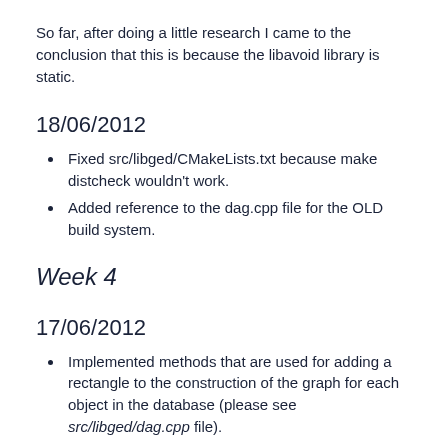So far, after doing a little research I came to the conclusion that this is because the libavoid library is static.
18/06/2012
Fixed src/libged/CMakeLists.txt because make distcheck wouldn't work.
Added reference to the dag.cpp file for the OLD build system.
Week 4
17/06/2012
Implemented methods that are used for adding a rectangle to the construction of the graph for each object in the database (please see src/libged/dag.cpp file).